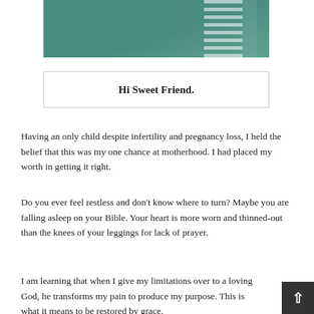[Figure (photo): Partial photo of a person wearing a teal/green jacket with a striped shirt visible, cropped at the top of the page.]
Hi Sweet Friend.
Having an only child despite infertility and pregnancy loss, I held the belief that this was my one chance at motherhood. I had placed my worth in getting it right.
Do you ever feel restless and don't know where to turn? Maybe you are falling asleep on your Bible. Your heart is more worn and thinned-out than the knees of your leggings for lack of prayer.
I am learning that when I give my limitations over to a loving God, he transforms my pain to produce my purpose. This is what it means to be restored by grace.